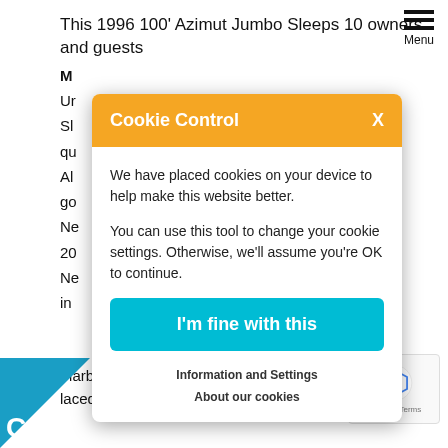This 1996 100' Azimut Jumbo Sleeps 10 owners and guests
M... Ur... [partially hidden] ...igines
Sl... [partially hidden] ...ditional crew qu...
Al... [partially hidden] ...ll interior soft go... [partially hidden] ...vork refinished.
Ne... [partially hidden] ...ks refinished in 20...
Ne... [partially hidden] ...long with (3) in... [partially hidden] ...bridge.
[Figure (screenshot): Cookie Control modal overlay with orange header containing 'Cookie Control' title and X close button. Body text: 'We have placed cookies on your device to help make this website better. You can use this tool to change your cookie settings. Otherwise, we'll assume you're OK to continue.' A teal 'I'm fine with this' button. Links: 'Information and Settings' and 'About our cookies'.]
Marble work added to décor and all galley applian... [partially hidden]
laced.